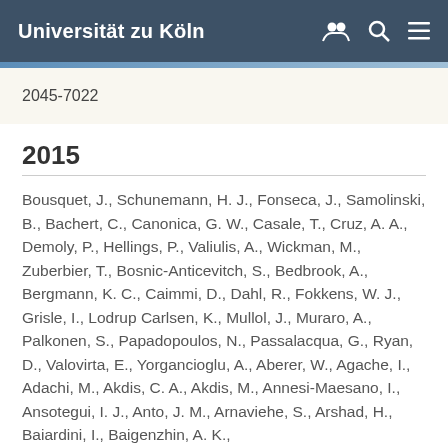Universität zu Köln
2045-7022
2015
Bousquet, J., Schunemann, H. J., Fonseca, J., Samolinski, B., Bachert, C., Canonica, G. W., Casale, T., Cruz, A. A., Demoly, P., Hellings, P., Valiulis, A., Wickman, M., Zuberbier, T., Bosnic-Anticevitch, S., Bedbrook, A., Bergmann, K. C., Caimmi, D., Dahl, R., Fokkens, W. J., Grisle, I., Lodrup Carlsen, K., Mullol, J., Muraro, A., Palkonen, S., Papadopoulos, N., Passalacqua, G., Ryan, D., Valovirta, E., Yorgancioglu, A., Aberer, W., Agache, I., Adachi, M., Akdis, C. A., Akdis, M., Annesi-Maesano, I., Ansotegui, I. J., Anto, J. M., Arnaviehe, S., Arshad, H., Baiardini, I., Baigenzhin, A. K.,